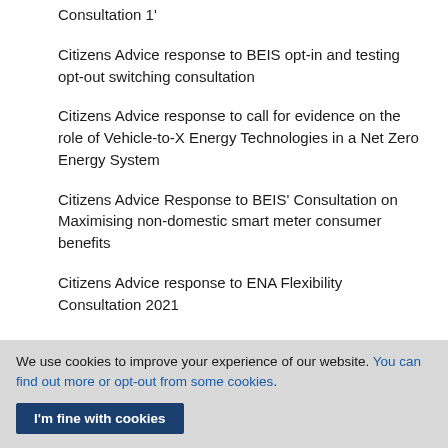Consultation 1'
Citizens Advice response to BEIS opt-in and testing opt-out switching consultation
Citizens Advice response to call for evidence on the role of Vehicle-to-X Energy Technologies in a Net Zero Energy System
Citizens Advice Response to BEIS' Consultation on Maximising non-domestic smart meter consumer benefits
Citizens Advice response to ENA Flexibility Consultation 2021
We use cookies to improve your experience of our website. You can find out more or opt-out from some cookies.